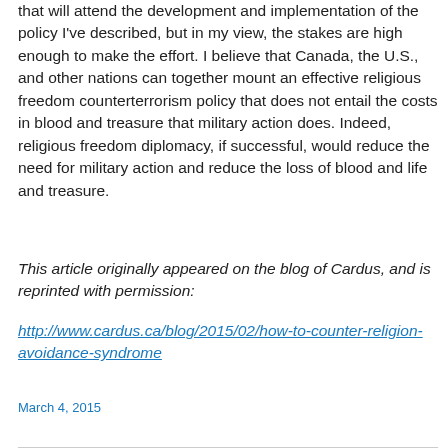that will attend the development and implementation of the policy I've described, but in my view, the stakes are high enough to make the effort. I believe that Canada, the U.S., and other nations can together mount an effective religious freedom counterterrorism policy that does not entail the costs in blood and treasure that military action does. Indeed, religious freedom diplomacy, if successful, would reduce the need for military action and reduce the loss of blood and life and treasure.
This article originally appeared on the blog of Cardus, and is reprinted with permission: http://www.cardus.ca/blog/2015/02/how-to-counter-religion-avoidance-syndrome
March 4, 2015